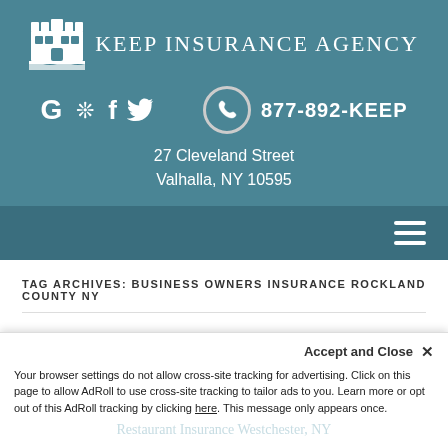[Figure (logo): Keep Insurance Agency logo with castle/building icon and agency name]
877-892-KEEP
27 Cleveland Street
Valhalla, NY 10595
Navigation menu (hamburger icon)
TAG ARCHIVES: BUSINESS OWNERS INSURANCE ROCKLAND COUNTY NY
Restaurant Insurance in Westchester, NY
Accept and Close ×
Your browser settings do not allow cross-site tracking for advertising. Click on this page to allow AdRoll to use cross-site tracking to tailor ads to you. Learn more or opt out of this AdRoll tracking by clicking here. This message only appears once.